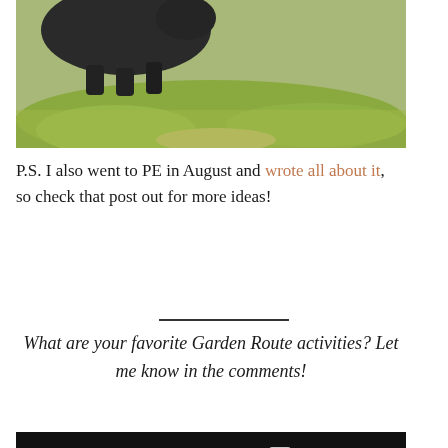[Figure (photo): Photo of a dark animal (rhinoceros or buffalo) on a grassy green hillside outdoors]
P.S. I also went to PE in August and wrote all about it, so check that post out for more ideas!
What are your favorite Garden Route activities? Let me know in the comments!
[Figure (other): Black share bar with social media icons: Facebook, Twitter, Pinterest, Email]
[Figure (other): Advertisement banner: Pop in & Shop New Arrivals - World Market]